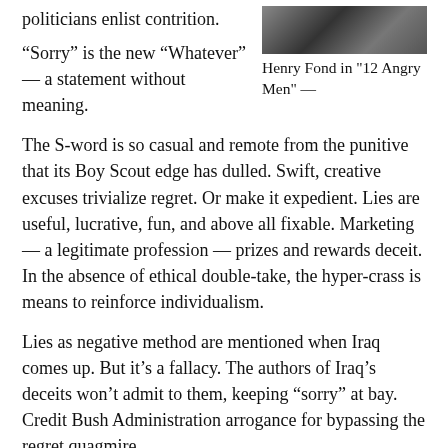politicians enlist contrition.
[Figure (photo): Black and white photo of Henry Fond (Henry Fonda) in '12 Angry Men']
Henry Fond in "12 Angry Men" —
“Sorry” is the new “Whatever” — a statement without meaning.
The S-word is so casual and remote from the punitive that its Boy Scout edge has dulled. Swift, creative excuses trivialize regret. Or make it expedient. Lies are useful, lucrative, fun, and above all fixable. Marketing — a legitimate profession — prizes and rewards deceit. In the absence of ethical double-take, the hyper-crass is means to reinforce individualism.
Lies as negative method are mentioned when Iraq comes up. But it’s a fallacy. The authors of Iraq’s deceits won’t admit to them, keeping “sorry” at bay. Credit Bush Administration arrogance for bypassing the regret quagmire.
The U.S. Democratic contenders, who, Verdun style